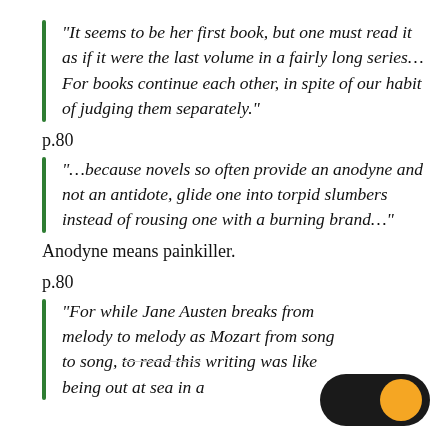“It seems to be her first book, but one must read it as if it were the last volume in a fairly long series… For books continue each other, in spite of our habit of judging them separately.”
p.80
“…because novels so often provide an anodyne and not an antidote, glide one into torpid slumbers instead of rousing one with a burning brand…”
Anodyne means painkiller.
p.80
“For while Jane Austen breaks from melody to melody as Mozart from song to song, to read this writing was like being out at sea in a